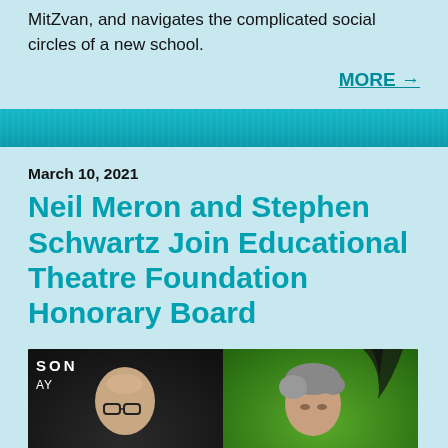MitZvan, and navigates the complicated social circles of a new school.
MORE →
Neil Meron and Stephen Schwartz Join Educational Theatre Foundation Honorary Board
March 10, 2021
[Figure (photo): Two headshots side by side: left photo shows a bald man with glasses against a dark background with 'SON' text visible; right photo shows a man with gray hair against a green Wicked-themed background.]